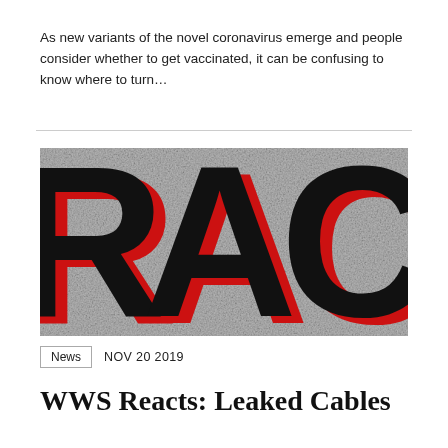As new variants of the novel coronavirus emerge and people consider whether to get vaccinated, it can be confusing to know where to turn…
[Figure (illustration): Close-up graphic image showing large bold letters 'RAC' in black with red outlines/shadow on a grey textured concrete-like background, partially cropped.]
News   NOV 20 2019
WWS Reacts: Leaked Cables